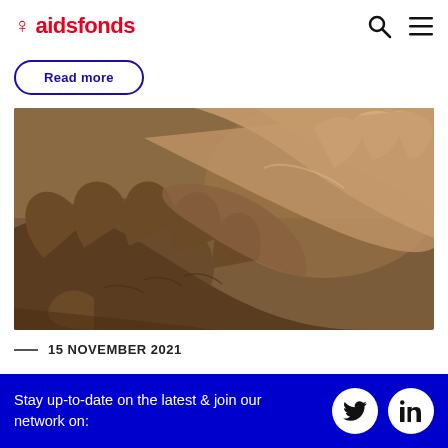aidsfonds
Read more
[Figure (photo): Close-up photograph of two dark-skinned hands clasped together in a handshake or holding gesture against a warm brown background.]
— 15 NOVEMBER 2021
Aidsfonds.org uses cookies to offer the best
Stay up-to-date on the latest & join our network on: